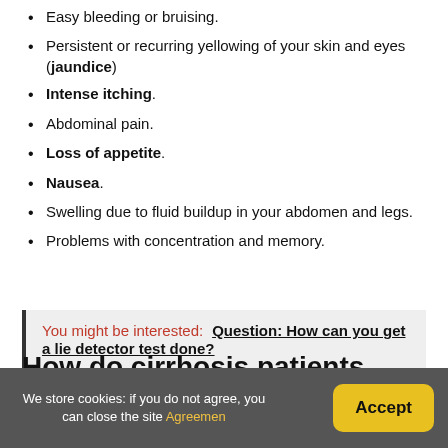Easy bleeding or bruising.
Persistent or recurring yellowing of your skin and eyes (jaundice)
Intense itching.
Abdominal pain.
Loss of appetite.
Nausea.
Swelling due to fluid buildup in your abdomen and legs.
Problems with concentration and memory.
You might be interested:  Question: How can you get a lie detector test done?
How do cirrhosis patients die?
We store cookies: if you do not agree, you can close the site Agreemen